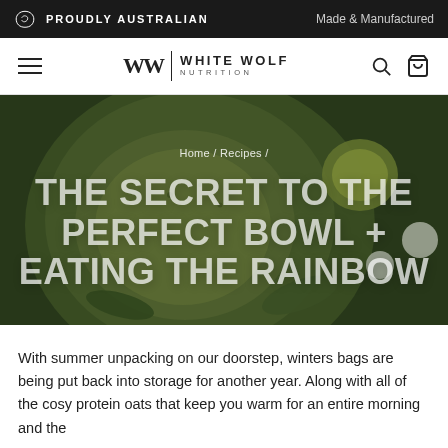PROUDLY AUSTRALIAN | Made & Manufactured
[Figure (logo): White Wolf Nutrition logo with hamburger menu, search and cart icons in navigation bar]
[Figure (photo): Aerial photo of a green smoothie bowl topped with matcha powder, kiwi slices, white flowers, and leaves on a dark background, overlaid with breadcrumb navigation and page title]
Home / Recipes /
THE SECRET TO THE PERFECT BOWL + EATING THE RAINBOW
With summer unpacking on our doorstep, winters bags are being put back into storage for another year. Along with all of the cosy protein oats that keep you warm for an entire morning and the